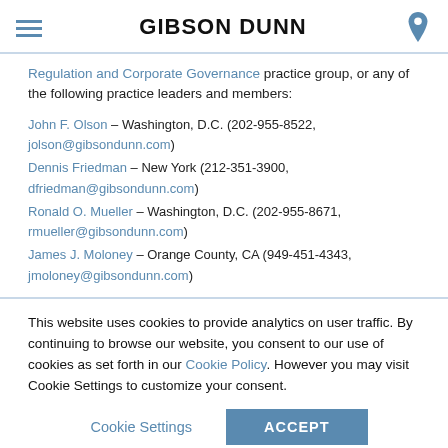GIBSON DUNN
Regulation and Corporate Governance practice group, or any of the following practice leaders and members:
John F. Olson – Washington, D.C. (202-955-8522, jolson@gibsondunn.com)
Dennis Friedman – New York (212-351-3900, dfriedman@gibsondunn.com)
Ronald O. Mueller – Washington, D.C. (202-955-8671, rmueller@gibsondunn.com)
James J. Moloney – Orange County, CA (949-451-4343, jmoloney@gibsondunn.com)
This website uses cookies to provide analytics on user traffic. By continuing to browse our website, you consent to our use of cookies as set forth in our Cookie Policy. However you may visit Cookie Settings to customize your consent.